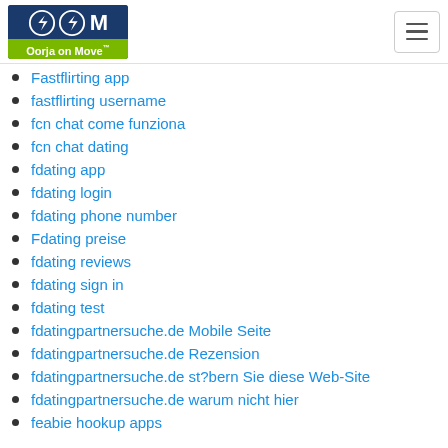Oorja on Move
Fastflirting app
fastflirting username
fcn chat come funziona
fcn chat dating
fdating app
fdating login
fdating phone number
Fdating preise
fdating reviews
fdating sign in
fdating test
fdatingpartnersuche.de Mobile Seite
fdatingpartnersuche.de Rezension
fdatingpartnersuche.de st?bern Sie diese Web-Site
fdatingpartnersuche.de warum nicht hier
feabie hookup apps